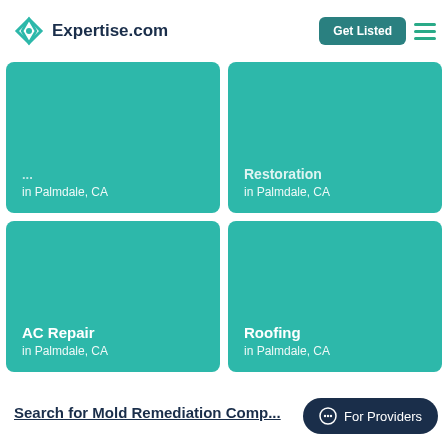Expertise.com
[Figure (screenshot): Four teal/turquoise tiles in a 2x2 grid. Top-left tile shows 'in Palmdale, CA' (partially visible, title cut off at top). Top-right tile shows 'Restoration' (partially visible at top) and 'in Palmdale, CA'. Bottom-left tile shows 'AC Repair' and 'in Palmdale, CA'. Bottom-right tile shows 'Roofing' and 'in Palmdale, CA'.]
Search for Mold Remediation Compan... (partially visible)